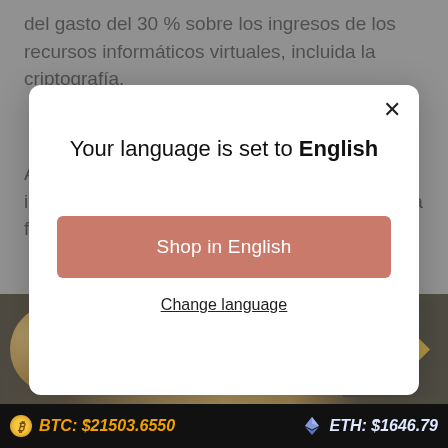del gasto del 30 % sobre los ingresos de los recursos informáticos virtuales, incluida la criptografía.
Además, la autoridad pública también ha impuesto un 1 % de TDS (cargo deducido en la fuente) en los intercambios de
[Figure (screenshot): Modal dialog overlay on a webpage with language selection. Title: 'Your language is set to English'. Button: 'Shop in English'. Link: 'Change language'. Close (X) button in top right.]
[Figure (photo): Cryptocurrency coins including Bitcoin, Ethereum, Dogecoin, and Binance logo on dark background.]
BTC: $21503.6550
ETH: $1646.79